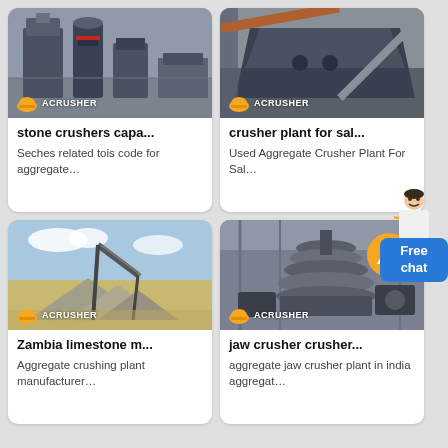[Figure (photo): Industrial stone crusher machines in factory/warehouse setting with ACRUSHER logo badge]
stone crushers capa...
Seches related tois code for aggregate…
[Figure (photo): Crusher plant machinery with conveyor/vibrating screen in industrial warehouse, ACRUSHER logo]
crusher plant for sal...
Used Aggregate Crusher Plant For Sal…
[Figure (photo): Aggregate crushing plant outdoors with stockpiles of crushed stone and conveyor belt, ACRUSHER logo]
Zambia limestone m...
Aggregate crushing plant manufacturer…
[Figure (photo): Large jaw/cone crusher in industrial facility with up arrow circle icon overlay, ACRUSHER logo]
jaw crusher crusher...
aggregate jaw crusher plant in india aggregat…